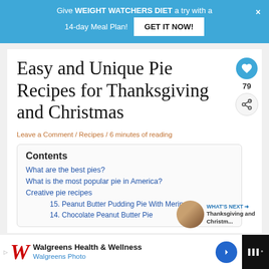Give WEIGHT WATCHERS DIET a try with a 14-day Meal Plan! GET IT NOW!
Easy and Unique Pie Recipes for Thanksgiving and Christmas
Leave a Comment / Recipes / 6 minutes of reading
Contents
What are the best pies?
What is the most popular pie in America?
Creative pie recipes
15. Peanut Butter Pudding Pie With Meringue
14. Chocolate Peanut Butter Pie
[Figure (other): WHAT'S NEXT arrow with Thanksgiving and Christmas thumbnail]
Walgreens Health & Wellness  Walgreens Photo — advertisement